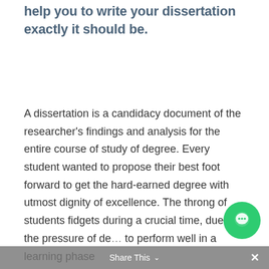help you to write your dissertation exactly it should be.
A dissertation is a candidacy document of the researcher's findings and analysis for the entire course of study of degree. Every student wanted to propose their best foot forward to get the hard-earned degree with utmost dignity of excellence. The throng of students fidgets during a crucial time, due to the pressure of de... to perform well in a learning phase
Share This ∨  ×